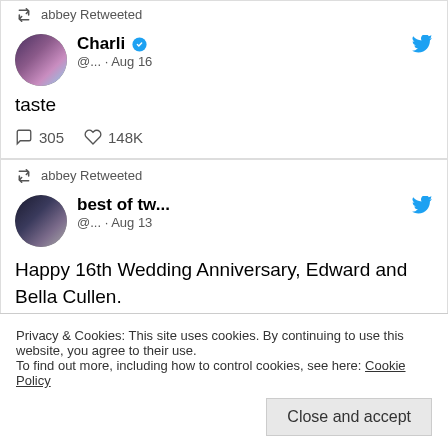abbey Retweeted
[Figure (photo): Profile photo of Charli - dark-haired woman]
Charli ✓ @... · Aug 16
taste
305  148K
abbey Retweeted
[Figure (photo): Profile photo of best of tw... - couple from Twilight movie]
best of tw... @... · Aug 13
Happy 16th Wedding Anniversary, Edward and Bella Cullen.
(August 13, 2006)
Privacy & Cookies: This site uses cookies. By continuing to use this website, you agree to their use.
To find out more, including how to control cookies, see here: Cookie Policy
Close and accept